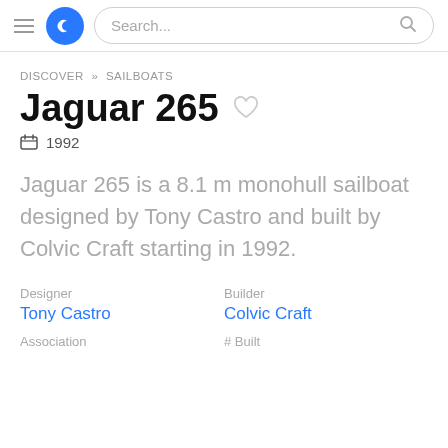Search...
DISCOVER » SAILBOATS
Jaguar 265
1992
Jaguar 265 is a 8.1 m monohull sailboat designed by Tony Castro and built by Colvic Craft starting in 1992.
Designer
Tony Castro
Builder
Colvic Craft
Association
# Built